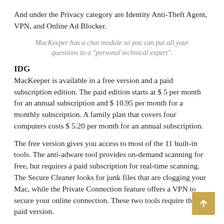And under the Privacy category are Identity Anti-Theft Agent, VPN, and Online Ad Blocker.
MacKeeper has a chat module so you can put all your questions to a "personal technical expert".
IDG
MacKeeper is available in a free version and a paid subscription edition. The paid edition starts at $ 5 per month for an annual subscription and $ 10.95 per month for a monthly subscription. A family plan that covers four computers costs $ 5.20 per month for an annual subscription.
The free version gives you access to most of the 11 built-in tools. The anti-adware tool provides on-demand scanning for free, but requires a paid subscription for real-time scanning. The Secure Cleaner looks for junk files that are clogging your Mac, while the Private Connection feature offers a VPN to secure your online connection. These two tools require the paid version.